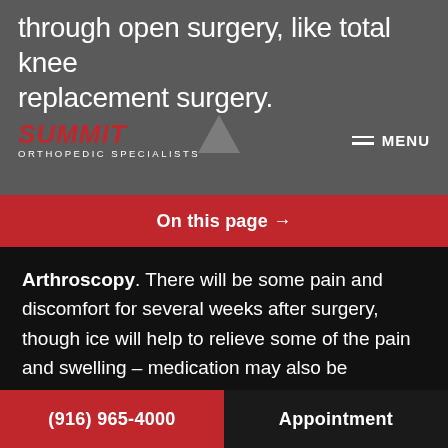through open surgery, like total knee replacement surgery.
[Figure (logo): Summit Orthopedic Specialists logo with red italic text and grey triangle, alongside hamburger menu icon and MENU text]
On this page →
Arthroscopy. There will be some pain and discomfort for several weeks after surgery, though ice will help to relieve some of the pain and swelling – medication may also be prescribed. Swelling in the knee is completely normal, and bandages can be removed as directed by your doctor. You will even be able to return to driving whenever you are comfortable unless otherwise instructed.
(916) 965-4000   Appointment